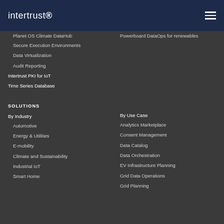intertrust
Planet OS Climate DataHub
Secure Execution Environments
Data Virtualization
Audit Reporting
Powerboard DataOps for renewables
Intertrust PKI for IoT
Time Series Database
SOLUTIONS
By Industry
By Use Case
Automotive
Analytics Marketplace
Energy & Utilities
Consent Management
E-mobility
Data Catalog
Climate and Sustainability
Data Orchestration
Industrial IoT
EV Infrastructure Planning
Smart Home
Grid Data Operations
Grid Planning